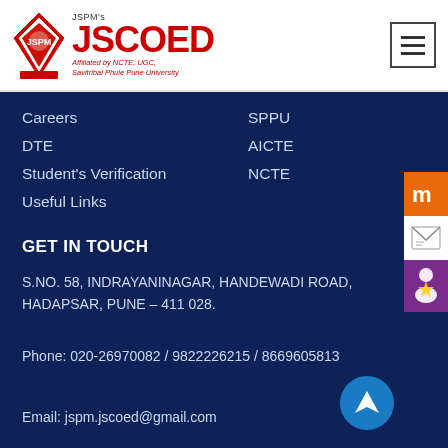JSPM's JSCOED — Affiliated by NCTE, UGC, Savitribai Phule Pune University
Careers
DTE
Student's Verification
Useful Links
SPPU
AICTE
NCTE
GET IN TOUCH
S.NO. 58, INDRAYANINAGAR, HANDEWADI ROAD, HADAPSAR, PUNE – 411 028.
Phone: 020-26970082 / 9822226215 / 8669605813
Email: jspm.jscoed@gmail.com